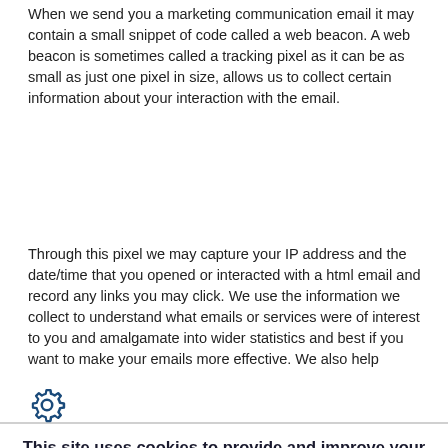When we send you a marketing communication email it may contain a small snippet of code called a web beacon. A web beacon is sometimes called a tracking pixel as it can be as small as just one pixel in size, allows us to collect certain information about your interaction with the email.
Through this pixel we may capture your IP address and the date/time that you opened or interacted with a html email and record any links you may click. We use the information we collect to understand what emails or services were of interest to you and amalgamate into wider statistics and best if...
This site uses cookies to provide and improve your shopping experience. If you want to benefit from this improved service, please opt-in. Cookies Page.
Accept Cookies
Reject All Cookies
Manage Preferences